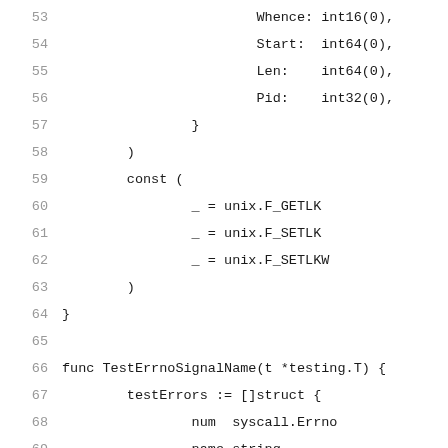53    Whence: int16(0),
54    Start:  int64(0),
55    Len:    int64(0),
56    Pid:    int32(0),
57        }
58    )
59    const (
60        _ = unix.F_GETLK
61        _ = unix.F_SETLK
62        _ = unix.F_SETLKW
63    )
64  }
65
66  func TestErrnoSignalName(t *testing.T) {
67      testErrors := []struct {
68          num  syscall.Errno
69          name string
70      }{
71          {syscall.EPERM, "EPERM"},
72          {syscall.EINVAL, "EINVAL"},
73          {syscall.ENOENT, "ENOENT"},
74  ...